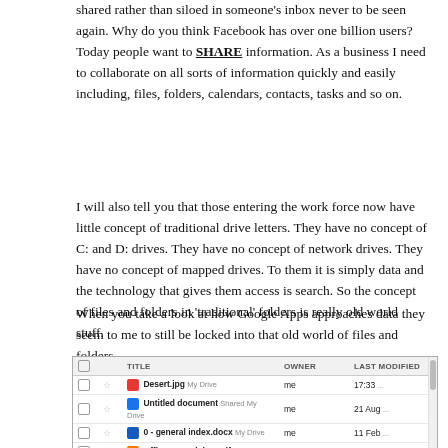shared rather than siloed in someone's inbox never to be seen again. Why do you think Facebook has over one billion users? Today people want to SHARE information. As a business I need to collaborate on all sorts of information quickly and easily including, files, folders, calendars, contacts, tasks and so on.
I will also tell you that those entering the work force now have little concept of traditional drive letters. They have no concept of C: and D: drives. They have no concept of network drives. They have no concept of mapped drives. To them it is simply data and the technology that gives them access is search. So the concept of files and folders in 'traditional' folders is really old world stuff.
When you take a look at how Google Apps approaches data they seem to me to still be locked into that old world of files and folders.
[Figure (screenshot): Screenshot of Google Drive file list showing columns: checkbox, Title, Owner, Last Modified. Files listed: Desert.jpg (My Drive), Untitled document (Shared, My Drive), 0 - general index.docx (My Drive), Office 365 Pricing.pdf (My Drive), 20120627 - Desktop to Cloud.pptx (My Drive). Last file row is highlighted in blue.]